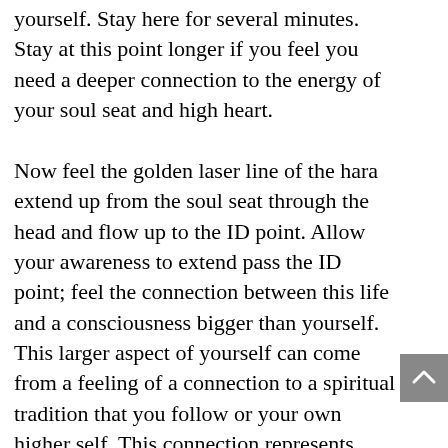yourself.  Stay here for several minutes.  Stay at this point longer if you feel you need a deeper connection to the energy of your soul seat and high heart.

Now feel the golden laser line of the hara extend up from the soul seat through the head and flow up to the ID point.  Allow your awareness to extend pass the ID point; feel the connection between this life and a consciousness bigger than yourself. This larger aspect of yourself can come from a feeling of a connection to a spiritual tradition that you follow or your own higher self. This connection represents your bigger self, the part of you that is more than this physical body and the part of you can that can feel one with all things.  As you feel this, reaffirm the connection to your spiritual tradition or your own higher self.  Feel this connection sending you love and light for a few minutes.  Stay here longer if you need to feel more spiritual guidance